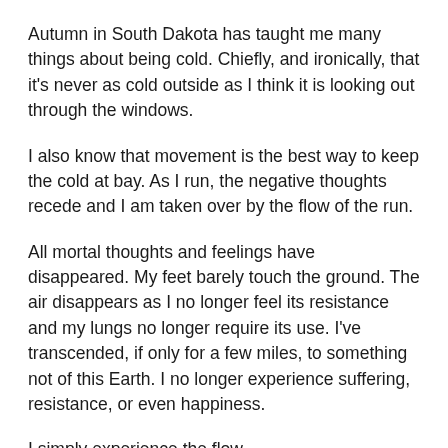Autumn in South Dakota has taught me many things about being cold. Chiefly, and ironically, that it's never as cold outside as I think it is looking out through the windows.
I also know that movement is the best way to keep the cold at bay. As I run, the negative thoughts recede and I am taken over by the flow of the run.
All mortal thoughts and feelings have disappeared. My feet barely touch the ground. The air disappears as I no longer feel its resistance and my lungs no longer require its use. I've transcended, if only for a few miles, to something not of this Earth. I no longer experience suffering, resistance, or even happiness.
I simply experience the flow.